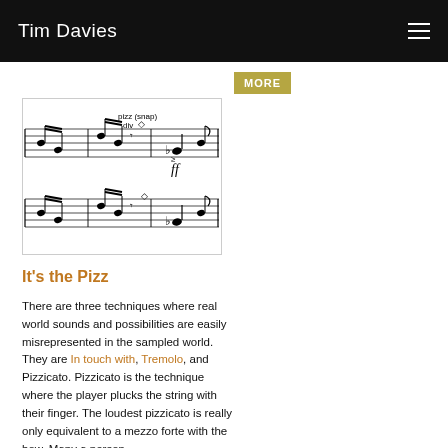Tim Davies
MORE
[Figure (illustration): Musical score excerpt showing pizz (snap) div notation with ff dynamic marking across two staves]
It's the Pizz
There are three techniques where real world sounds and possibilities are easily misrepresented in the sampled world. They are In touch with, Tremolo, and Pizzicato. Pizzicato is the technique where the player plucks the string with their finger. The loudest pizzicato is really only equivalent to a mezzo forte with the bow. Many a person has been caught with footsteps in